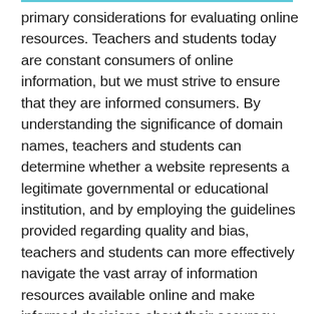primary considerations for evaluating online resources. Teachers and students today are constant consumers of online information, but we must strive to ensure that they are informed consumers. By understanding the significance of domain names, teachers and students can determine whether a website represents a legitimate governmental or educational institution, and by employing the guidelines provided regarding quality and bias, teachers and students can more effectively navigate the vast array of information resources available online and make informed decisions about their accuracy and value.